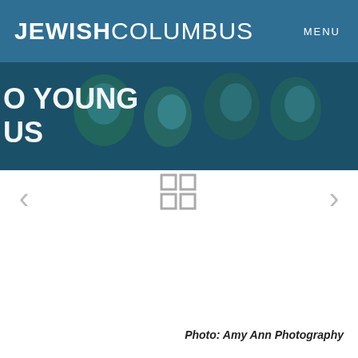JEWISHCOLUMBUS    MENU
[Figure (photo): Banner image with blue tint overlay showing a group of young people smiling, partially visible text 'O YOUNG US' on the left side in white bold font]
[Figure (other): Navigation left arrow < in gray]
[Figure (other): 2x2 grid icon in gray (four small squares)]
[Figure (other): Navigation right arrow > in gray]
Photo: Amy Ann Photography